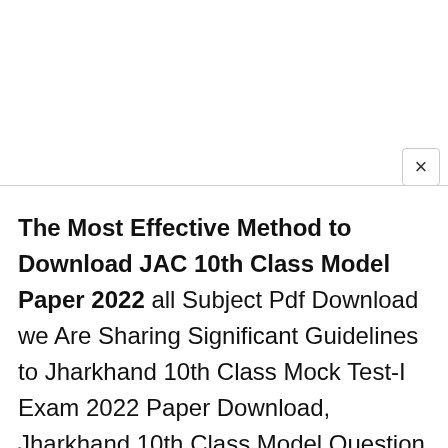[Figure (screenshot): White top area representing a browser/app UI element with a close (×) button on the right side]
The Most Effective Method to Download JAC 10th Class Model Paper 2022 all Subject Pdf Download we Are Sharing Significant Guidelines to Jharkhand 10th Class Mock Test-I Exam 2022 Paper Download, Jharkhand 10th Class Model Question Paper